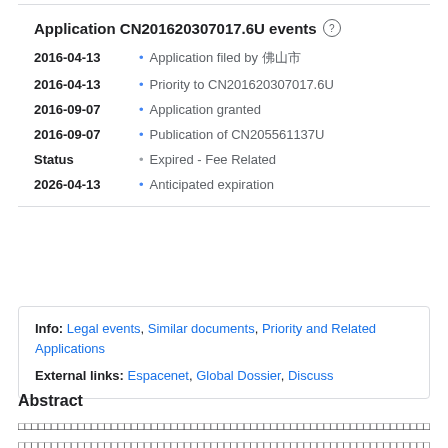Application CN201620307017.6U events
2016-04-13 • Application filed by 佛山市
2016-04-13 • Priority to CN201620307017.6U
2016-09-07 • Application granted
2016-09-07 • Publication of CN205561137U
Status • Expired - Fee Related
2026-04-13 • Anticipated expiration
Info: Legal events, Similar documents, Priority and Related Applications
External links: Espacenet, Global Dossier, Discuss
Abstract
[Chinese abstract text]